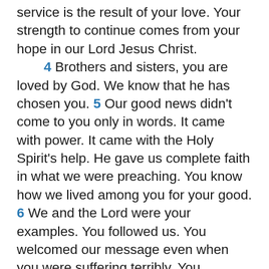service is the result of your love. Your strength to continue comes from your hope in our Lord Jesus Christ. 4 Brothers and sisters, you are loved by God. We know that he has chosen you. 5 Our good news didn't come to you only in words. It came with power. It came with the Holy Spirit's help. He gave us complete faith in what we were preaching. You know how we lived among you for your good. 6 We and the Lord were your examples. You followed us. You welcomed our message even when you were suffering terribly. You welcomed it with the joy the Holy Spirit gives. 7 So you became a model to all the believers in the lands of Macedonia and Achaia. 8 The Lord's message rang out from you. That was true not only in Macedonia and Achaia. Your faith in God has also become known everywhere. So we don't have to say anything about it. 9 The believers themselves report the kind of welcome you gave us. They tell about how you turned away from statues of gods. And you turned to serve